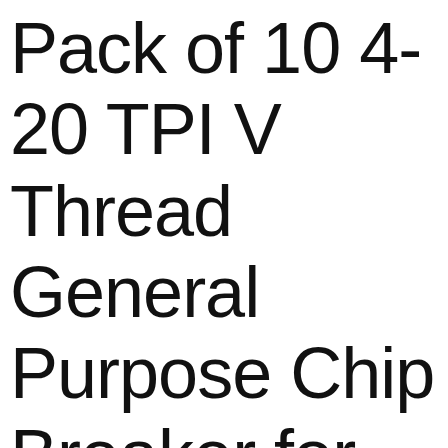Pack of 10 4-20 TPI V Thread General Purpose Chip Breaker for Forming...